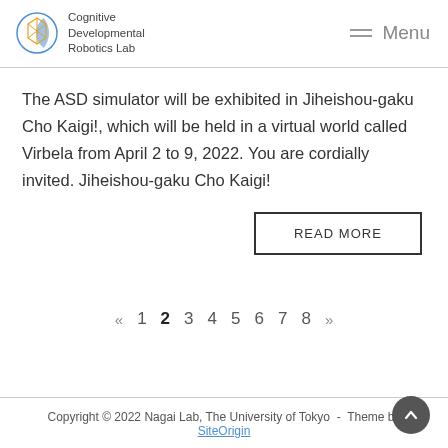Cognitive Developmental Robotics Lab | Menu
The ASD simulator will be exhibited in Jiheishou-gaku Cho Kaigi!, which will be held in a virtual world called Virbela from April 2 to 9, 2022. You are cordially invited. Jiheishou-gaku Cho Kaigi!
READ MORE
« 1 2 3 4 5 6 7 8 »
Copyright © 2022 Nagai Lab, The University of Tokyo - Theme by SiteOrigin